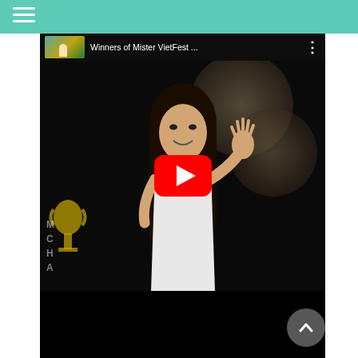[Figure (screenshot): Website screenshot showing a teal/green navigation header bar with a hamburger menu icon (three horizontal lines) in the top-left corner, and an embedded YouTube video thumbnail below. The video is titled 'Winners of Mister VietFest ...' and shows a young girl with long dark hair wearing a white top, waving, with a large red YouTube play button overlay in the center. There is a trophy visible on the left side of the video. A dark bottom strip and a grey scroll-to-top button are visible at the bottom right.]